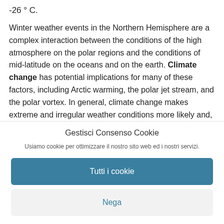-26 ° C.
Winter weather events in the Northern Hemisphere are a complex interaction between the conditions of the high atmosphere on the polar regions and the conditions of mid-latitude on the oceans and on the earth. Climate change has potential implications for many of these factors, including Arctic warming, the polar jet stream, and the polar vortex. In general, climate change makes extreme and irregular weather conditions more likely and, in some cases,
Gestisci Consenso Cookie
Usiamo cookie per ottimizzare il nostro sito web ed i nostri servizi.
Tutti i cookie
Nega